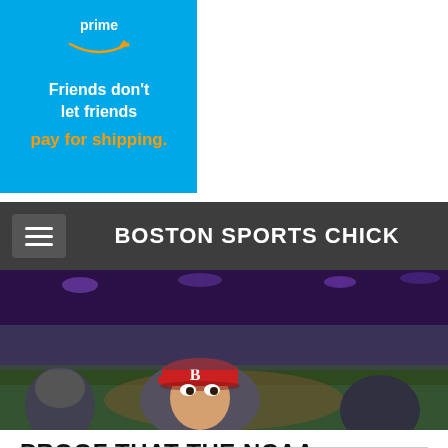[Figure (logo): Amazon Prime advertisement. Blue background with 'prime' and Amazon logo arrow in orange. Text: Friends don't let friends pay for shipping.]
BOSTON SPORTS CHICK
[Figure (photo): Hero banner photo of a baseball stadium crowd with a person wearing a red B (Boston Red Sox) cap visible in the foreground.]
PROOF THAT THE NCAA BASKETBALL RANKINGS ARE A JOKE
1/14/2014
1 Comment